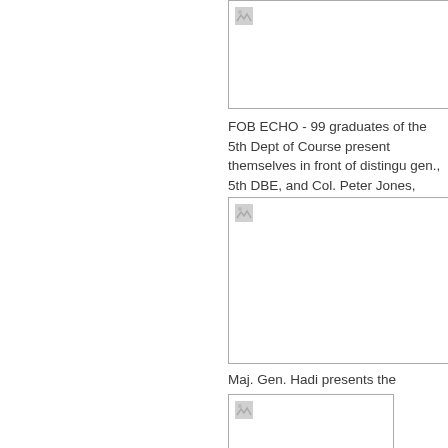[Figure (photo): Partially visible photo at top of page, cropped]
FOB ECHO - 99 graduates of the 5th Dept of Course present themselves in front of distinguished gen., 5th DBE, and Col. Peter Jones, cmdr, 3r
[Figure (photo): Photo of graduation ceremony or military event]
Maj. Gen. Hadi presents the distinguished hon
[Figure (photo): Photo partially visible at bottom of page]